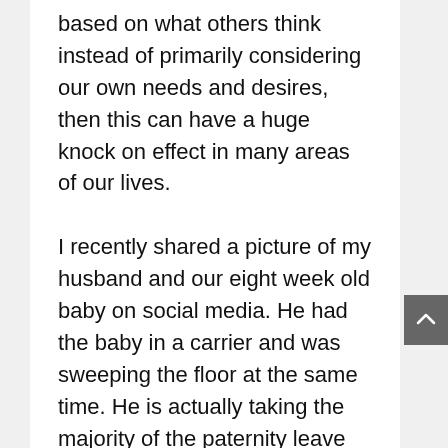based on what others think instead of primarily considering our own needs and desires, then this can have a huge knock on effect in many areas of our lives.
I recently shared a picture of my husband and our eight week old baby on social media. He had the baby in a carrier and was sweeping the floor at the same time. He is actually taking the majority of the paternity leave as I run my own business, and so it was not an option for me to be off for any decent amount of time